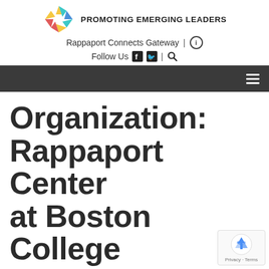PROMOTING EMERGING LEADERS
Rappaport Connects Gateway | ℹ
Follow Us 🅕 🅣 | 🔍
Organization: Rappaport Center at Boston College Law School